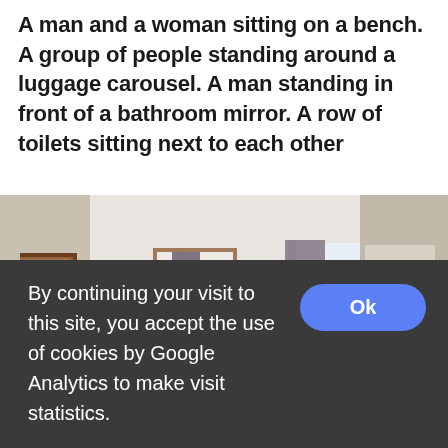A man and a woman sitting on a bench. A group of people standing around a luggage carousel. A man standing in front of a bathroom mirror. A row of toilets sitting next to each other
[Figure (photo): A 360-degree panoramic photo of a bedroom showing: a brown wooden door on the left, a white wardrobe/closet with dark curtains in the center, built-in shelving units on the right, a black office chair and white desk, a white bed with metal headboard on the far right, and a bright window in the center-right area. The room has white walls, dark skirting boards, and a gray carpet floor.]
By continuing your visit to this site, you accept the use of cookies by Google Analytics to make visit statistics.